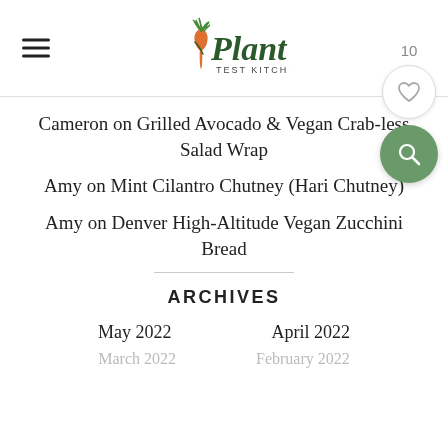Plant Test Kitchen
Cameron on Grilled Avocado & Vegan Crab-less Salad Wrap
Amy on Mint Cilantro Chutney (Hari Chutney)
Amy on Denver High-Altitude Vegan Zucchini Bread
ARCHIVES
May 2022    April 2022
March 2022   February 2022